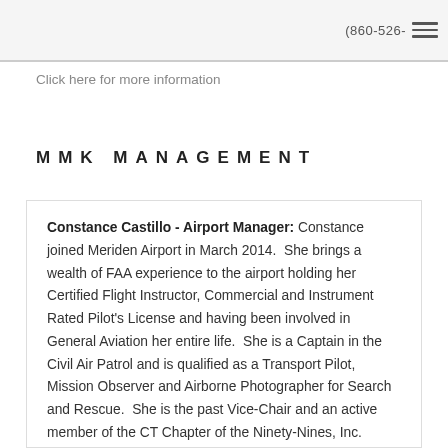(860-526-[…]
Click here for more information
MMK MANAGEMENT
Constance Castillo - Airport Manager: Constance joined Meriden Airport in March 2014.  She brings a wealth of FAA experience to the airport holding her Certified Flight Instructor, Commercial and Instrument Rated Pilot's License and having been involved in General Aviation her entire life.  She is a Captain in the Civil Air Patrol and is qualified as a Transport Pilot, Mission Observer and Airborne Photographer for Search and Rescue.  She is the past Vice-Chair and an active member of the CT Chapter of the Ninety-Nines, Inc. International Organization of Women…